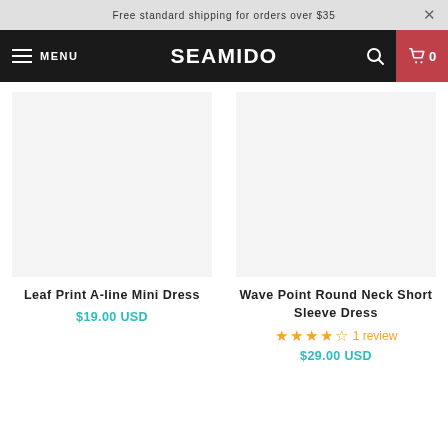Free standard shipping for orders over $35
MENU  SEAMIDO  [search] [cart 0]
Leaf Print A-line Mini Dress
$19.00 USD
Wave Point Round Neck Short Sleeve Dress
1 review
$29.00 USD